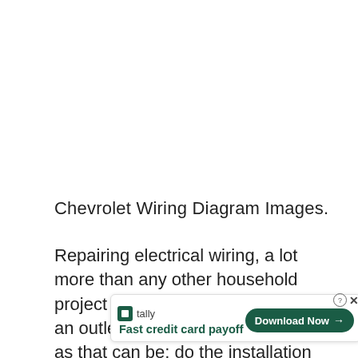Chevrolet Wiring Diagram Images.
Repairing electrical wiring, a lot more than any other household project is about protection. Install an outlet correctly and it's as safe as that can be; do the installation improperly and it can pote num cabling and installations. The rules can be complicated, for sure, and sometimes
[Figure (other): Advertisement overlay from Tally app: 'Fast credit card payoff' with a green 'Download Now →' button, close (X) and help (?) icons.]